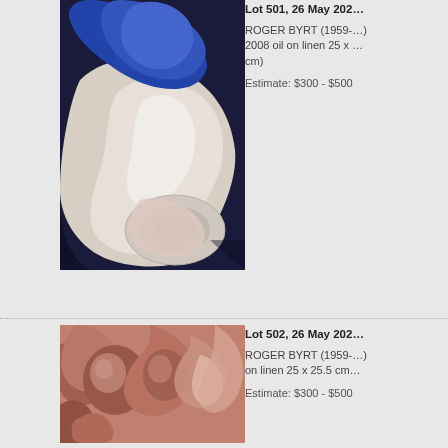[Figure (photo): Painting of draped fabric with blue and white tones, abstract style, oil on linen]
Lot 501, 26 May 202…
ROGER BYRT (1959-…) 2008 oil on linen 25 x … cm)
Estimate: $300 - $500
[Figure (photo): Painting of swirling organic forms in warm reddish-brown tones, oil on linen]
Lot 502, 26 May 202…
ROGER BYRT (1959-…) oil on linen 25 x 25.5 cm…
Estimate: $300 - $500